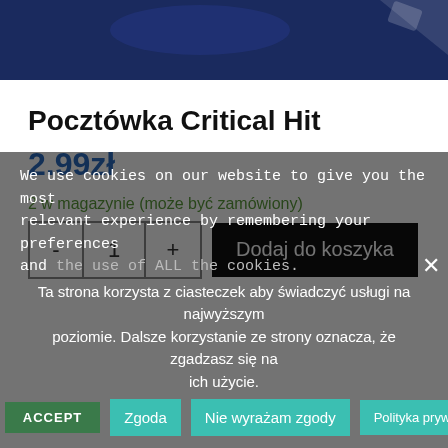[Figure (photo): Dark blue product image/hero banner at top of product page]
Pocztówka Critical Hit
2.99zł
2 w magazynie (może być zamówiony)
- 1 +   Dodaj do koszyka
We use cookies on our website to give you the most relevant experience by remembering your preferences and the use of ALL the cookies.
Ta strona korzysta z ciasteczek aby świadczyć usługi na najwyższym poziomie. Dalsze korzystanie ze strony oznacza, że zgadzasz się na ich użycie.
Cookie settings  ACCEPT  Zgoda  Nie wyrażam zgody  Polityka prywatności